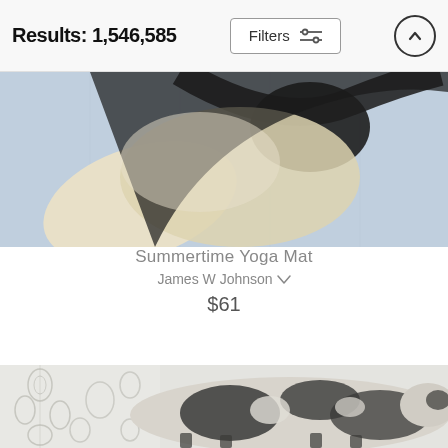Results: 1,546,585
[Figure (photo): Partial view of a yoga mat with abstract painting featuring black, cream, and blue-purple brushstrokes]
Summertime Yoga Mat
James W Johnson ♡
$61
[Figure (photo): Partial view of a yoga mat featuring an illustrated black and white dairy cow on a decorative floral wallpaper background]